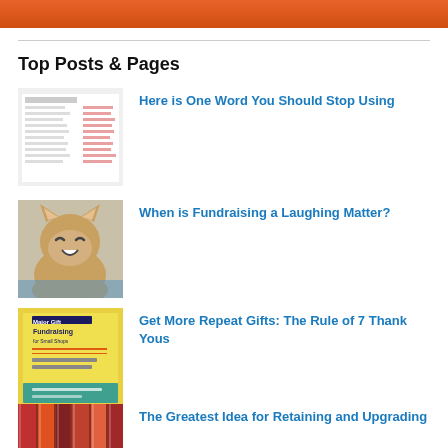[Figure (illustration): Orange banner/header strip at the top of the page with decorative elements]
Top Posts & Pages
[Figure (screenshot): Thumbnail image of a list/table document]
Here is One Word You Should Stop Using
[Figure (photo): Thumbnail image of a laughing cat]
When is Fundraising a Laughing Matter?
[Figure (photo): Thumbnail image of a Major Gift Fundraising for Small Shops book cover]
Get More Repeat Gifts: The Rule of 7 Thank Yous
[Figure (photo): Thumbnail image of books/binders on a shelf]
The Greatest Idea for Retaining and Upgrading